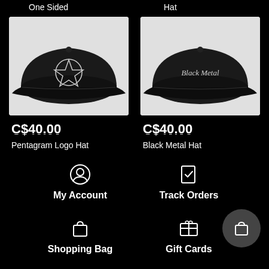One Sided
Hat
[Figure (photo): Black baseball cap with embroidered pentagram logo on front]
[Figure (photo): Black baseball cap with embroidered 'Black Metal' gothic text on front]
C$40.00
Pentagram Logo Hat
C$40.00
Black Metal Hat
My Account
Track Orders
Shopping Bag
Gift Cards